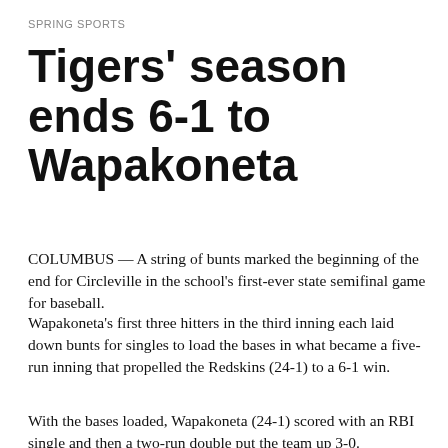SPRING SPORTS
Tigers' season ends 6-1 to Wapakoneta
COLUMBUS — A string of bunts marked the beginning of the end for Circleville in the school's first-ever state semifinal game for baseball.
Wapakoneta's first three hitters in the third inning each laid down bunts for singles to load the bases in what became a five-run inning that propelled the Redskins (24-1) to a 6-1 win.
With the bases loaded, Wapakoneta (24-1) scored with an RBI single and then a two-run double put the team up 3-0.